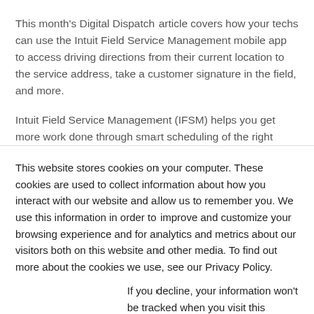This month's Digital Dispatch article covers how your techs can use the Intuit Field Service Management mobile app to access driving directions from their current location to the service address, take a customer signature in the field, and more.
Intuit Field Service Management (IFSM) helps you get more work done through smart scheduling of the right technician for the job, real-time dispatching, and IFSM helps your techs make smart decisions out in the field regarding servicing or replacing customer equipment, and more!
This website stores cookies on your computer. These cookies are used to collect information about how you interact with our website and allow us to remember you. We use this information in order to improve and customize your browsing experience and for analytics and metrics about our visitors both on this website and other media. To find out more about the cookies we use, see our Privacy Policy.
If you decline, your information won't be tracked when you visit this website. A single cookie will be used in your browser to remember your preference not to be tracked.